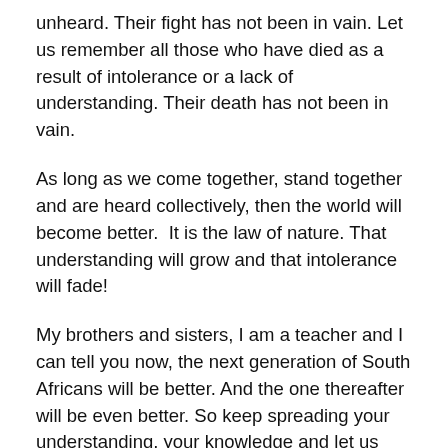unheard. Their fight has not been in vain. Let us remember all those who have died as a result of intolerance or a lack of understanding. Their death has not been in vain.
As long as we come together, stand together and are heard collectively, then the world will become better.  It is the law of nature. That understanding will grow and that intolerance will fade!
My brothers and sisters, I am a teacher and I can tell you now, the next generation of South Africans will be better. And the one thereafter will be even better. So keep spreading your understanding, your knowledge and let us move towards a world where we love and let tolerance be the second nature.